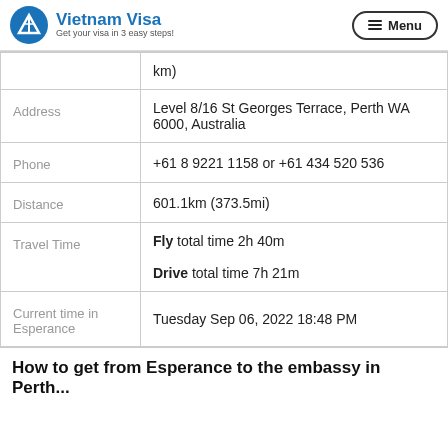Vietnam Visa - Get your visa in 3 easy steps!
|  | km) |
| Address | Level 8/16 St Georges Terrace, Perth WA 6000, Australia |
| Phone | +61 8 9221 1158 or +61 434 520 536 |
| Distance | 601.1km (373.5mi) |
| Travel Time | Fly total time 2h 40m
Drive total time 7h 21m |
| Current time in Esperance | Tuesday Sep 06, 2022 18:48 PM |
How to get from Esperance to the embassy in Perth...